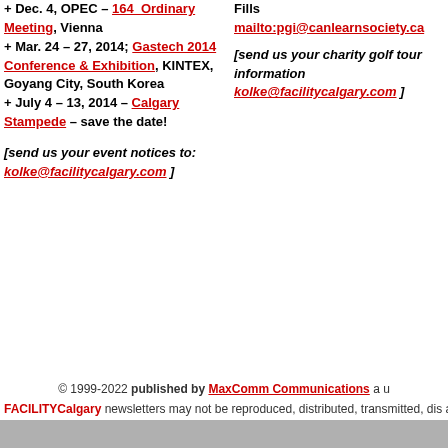+ Dec. 4, OPEC – 164  Ordinary Meeting, Vienna
+ Mar. 24 – 27, 2014; Gastech 2014 Conference & Exhibition, KINTEX, Goyang City, South Korea
+ July 4 – 13, 2014 – Calgary Stampede – save the date!
[send us your event notices to: kolke@facilitycalgary.com ]
Fills
mailto:pgi@canlearnsociety.ca
[send us your charity golf tour information
kolke@facilitycalgary.com ]
© 1999-2022 published by MaxComm Communications a u
FACILITYCalgary newsletters may not be reproduced, distributed, transmitted, dis any medium without prior written permission. All rights reserved. PLANDflex Corpora